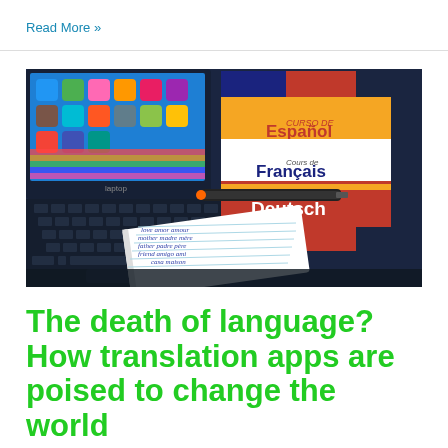Read More »
[Figure (photo): A laptop with colorful app icons on screen, stacked language learning books (English, Español, Français, Deutsch) and an open notebook with multilingual words written in cursive (love, mother, father, friend, amor, amour, madre, mère, padre, père, amigo, ami, casa, maison)]
The death of language? How translation apps are poised to change the world